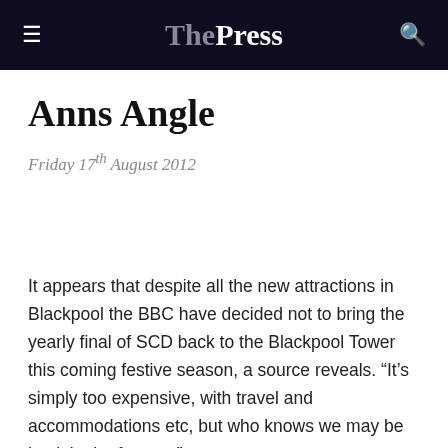The Press
Anns Angle
Friday 17th August 2012
It appears that despite all the new attractions in Blackpool the BBC have decided not to bring the yearly final of SCD back to the Blackpool Tower this coming festive season, a source reveals. “It’s simply too expensive, with travel and accommodations etc, but who knows we may be back in the future...”